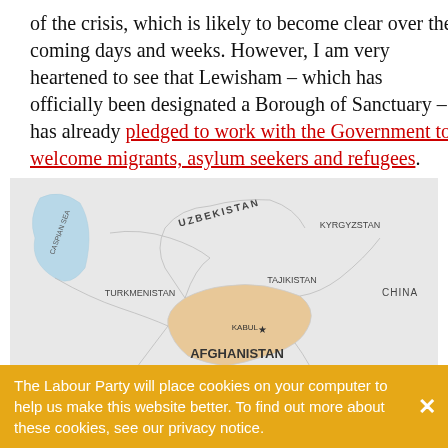of the crisis, which is likely to become clear over the coming days and weeks. However, I am very heartened to see that Lewisham – which has officially been designated a Borough of Sanctuary – has already pledged to work with the Government to welcome migrants, asylum seekers and refugees.
[Figure (map): Map of Afghanistan and surrounding countries including Uzbekistan, Turkmenistan, Tajikistan, Kyrgyzstan, China, Iran, Pakistan. Afghanistan is highlighted in orange/tan. Kabul is marked with a star. The Caspian Sea is shown in blue to the northwest.]
The Labour Party will place cookies on your computer to help us make this website better. To find out more about these cookies, see our privacy notice.